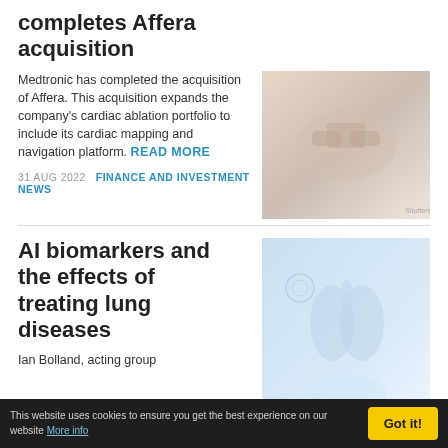completes Affera acquisition
[Figure (photo): Two people shaking hands, business deal photo with Shutterstock watermark]
Medtronic has completed the acquisition of Affera. This acquisition expands the company's cardiac ablation portfolio to include its cardiac mapping and navigation platform. READ MORE
31 AUG 2022   FINANCE AND INVESTMENT NEWS
AI biomarkers and the effects of treating lung diseases
[Figure (photo): AI medical concept image showing lungs and healthcare technology with Shutterstock watermark]
Ian Bolland, acting group editor of life sciences, met David Hess...
This website uses cookies to ensure you get the best experience on our website More info   Got it!